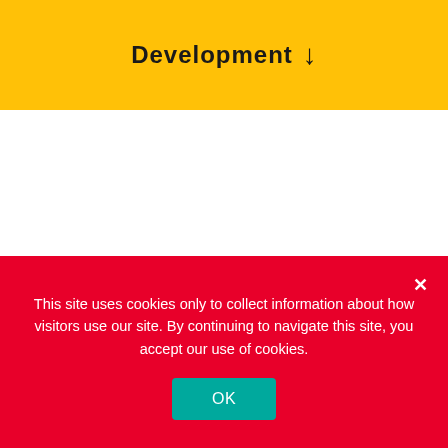Development ↓
UX for B2B & Engineering 4.0 Solutions
Focus on economy
This site uses cookies only to collect information about how visitors use our site. By continuing to navigate this site, you accept our use of cookies.